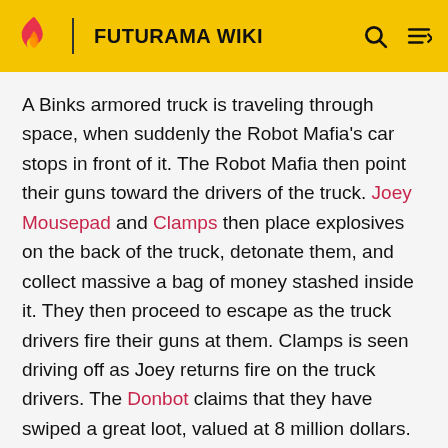FUTURAMA WIKI
A Binks armored truck is traveling through space, when suddenly the Robot Mafia's car stops in front of it. The Robot Mafia then point their guns toward the drivers of the truck. Joey Mousepad and Clamps then place explosives on the back of the truck, detonate them, and collect massive a bag of money stashed inside it. They then proceed to escape as the truck drivers fire their guns at them. Clamps is seen driving off as Joey returns fire on the truck drivers. The Donbot claims that they have swiped a great loot, valued at 8 million dollars. As the Robot Mafia manages to flee, the truck drivers grimace over their unfortunate loss.